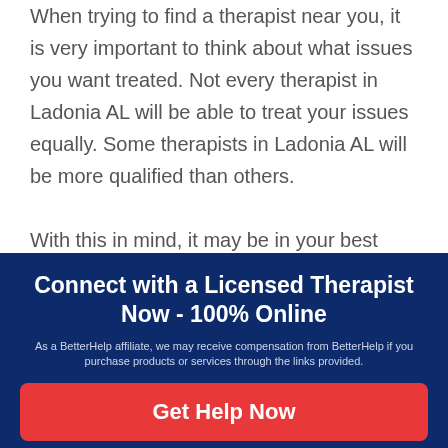When trying to find a therapist near you, it is very important to think about what issues you want treated. Not every therapist in Ladonia AL will be able to treat your issues equally. Some therapists in Ladonia AL will be more qualified than others.

With this in mind, it may be in your best interest to write down all of the afflictions you would like to get help with before you talk to
Connect with a Licensed Therapist Now - 100% Online
As a BetterHelp affiliate, we may receive compensation from BetterHelp if you purchase products or services through the links provided.
Get Help Now